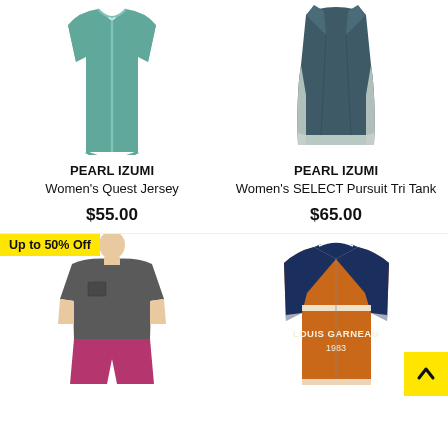[Figure (photo): PEARL IZUMI Women's Quest Jersey - teal green short sleeve cycling jersey]
PEARL IZUMI
Women's Quest Jersey
$55.00
[Figure (photo): PEARL IZUMI Women's SELECT Pursuit Tri Tank - dark teal sleeveless tri tank top]
PEARL IZUMI
Women's SELECT Pursuit Tri Tank
$65.00
[Figure (photo): Dark grey women's short sleeve t-shirt with chest pocket, worn with magenta shorts. Sale badge: Up to 50% Off]
[Figure (photo): Louis Garneau 1983 navy and orange cycling jersey]